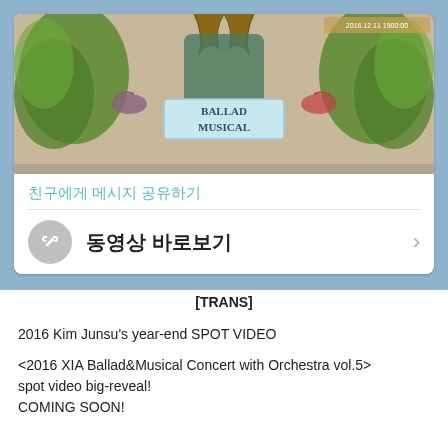[Figure (illustration): A decorative concert poster image for '2016 XIA Ballad & Musical Concert' featuring illustrated botanical and bird motifs in green and brown tones with text reading 'BALLAD MUSICAL']
친구에게 메시지 공유하기
동영상 바로보기
[TRANS]
2016 Kim Junsu's year-end SPOT VIDEO
<2016 XIA Ballad&Musical Concert with Orchestra vol.5> spot video big-reveal!
COMING SOON!